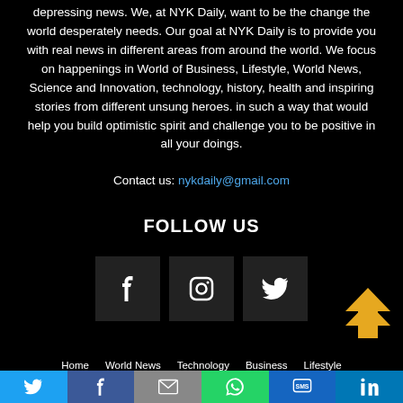depressing news. We, at NYK Daily, want to be the change the world desperately needs. Our goal at NYK Daily is to provide you with real news in different areas from around the world. We focus on happenings in World of Business, Lifestyle, World News, Science and Innovation, technology, history, health and inspiring stories from different unsung heroes. in such a way that would help you build optimistic spirit and challenge you to be positive in all your doings.
Contact us: nykdaily@gmail.com
FOLLOW US
[Figure (infographic): Three social media icon boxes: Facebook (f), Instagram (camera circle), Twitter (bird)]
[Figure (infographic): Orange double chevron up arrow (back to top button)]
Home   World News   Technology   Business   Lifestyle
[Figure (infographic): Share bar with icons: Twitter (blue), Facebook (dark blue), Email (gray), WhatsApp (green), SMS (blue), LinkedIn (blue)]